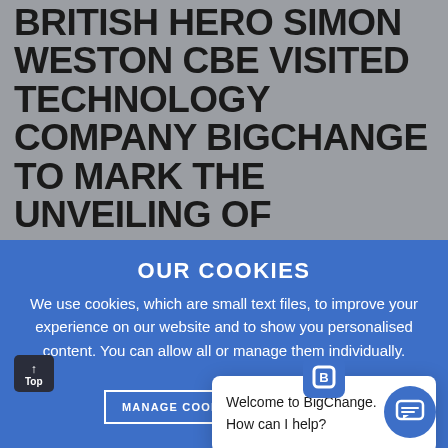BRITISH HERO SIMON WESTON CBE VISITED TECHNOLOGY COMPANY BIGCHANGE TO MARK THE UNVEILING OF MOTIVATIONAL MONDAY.
Simon shared his extraor survival and resilience at troop ship Sir Galahad II on the Falkland Islands. Despite horrific injuries and 46% burns, Simon survived this life-changing turn of events. Addressing BigChange's 50-strong team at their HQ in Leeds, Simon spoke about how self-belief enabled him to
OUR COOKIES
We use cookies, which are small text files, to improve your experience on our website and to show you personalised content. You can allow all or manage them individually.
MANAGE COOKIES
Welcome to BigChange.
How can I help?